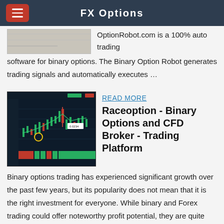FX Options
OptionRobot.com is a 100% auto trading software for binary options. The Binary Option Robot generates trading signals and automatically executes …
READ MORE
Raceoption - Binary Options and CFD Broker - Trading Platform
Binary options trading has experienced significant growth over the past few years, but its popularity does not mean that it is the right investment for everyone. While binary and Forex trading could offer noteworthy profit potential, they are quite different and may not serve the same needs. Find out which one is best suited to you.
READ MORE